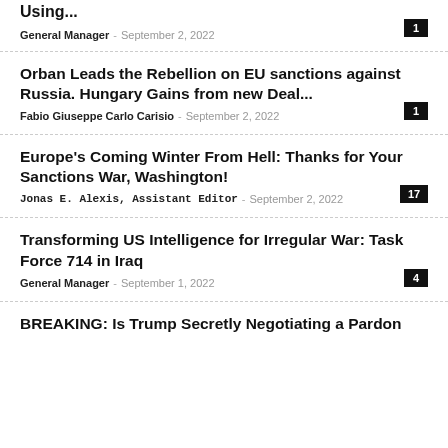Using...
General Manager - September 2, 2022
Orban Leads the Rebellion on EU sanctions against Russia. Hungary Gains from new Deal...
Fabio Giuseppe Carlo Carisio - September 2, 2022
Europe's Coming Winter From Hell: Thanks for Your Sanctions War, Washington!
Jonas E. Alexis, Assistant Editor - September 2, 2022
Transforming US Intelligence for Irregular War: Task Force 714 in Iraq
General Manager - September 1, 2022
BREAKING: Is Trump Secretly Negotiating a Pardon